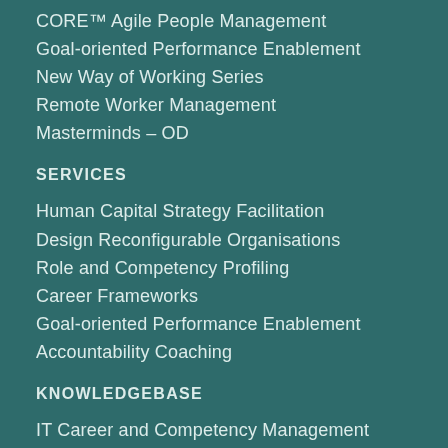CORE™ Agile People Management
Goal-oriented Performance Enablement
New Way of Working Series
Remote Worker Management
Masterminds – OD
SERVICES
Human Capital Strategy Facilitation
Design Reconfigurable Organisations
Role and Competency Profiling
Career Frameworks
Goal-oriented Performance Enablement
Accountability Coaching
KNOWLEDGEBASE
IT Career and Competency Management